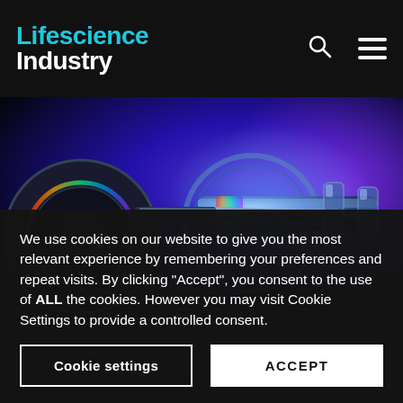Lifescience Industry
[Figure (photo): Close-up macro photo of a syringe needle inserted into a glass vial/ampoule with vibrant blue and purple neon lighting reflections]
We use cookies on our website to give you the most relevant experience by remembering your preferences and repeat visits. By clicking “Accept”, you consent to the use of ALL the cookies. However you may visit Cookie Settings to provide a controlled consent.
Cookie settings
ACCEPT